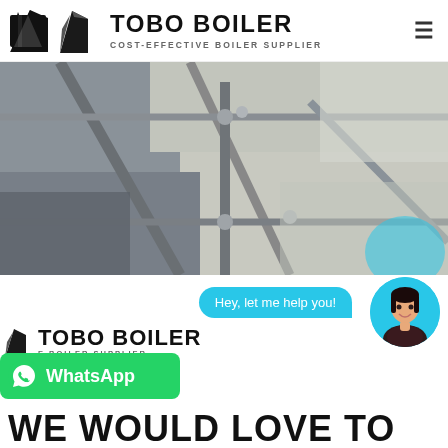[Figure (logo): TOBO BOILER logo with tagline COST-EFFECTIVE BOILER SUPPLIER and hamburger menu icon]
[Figure (photo): Industrial pipes and structural framework, blurry close-up photograph]
[Figure (screenshot): Chat bubble saying Hey, let me help you! with female avatar in teal circle, overlaid on TOBO BOILER logo and WhatsApp button]
WE WOULD LOVE TO